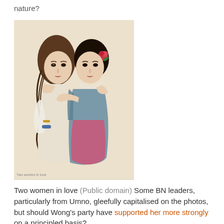nature?
[Figure (illustration): Victorian-era color illustration of two women in love, one with long curly brown hair wearing a white dress with a blue bracelet and gold bracelet, the other with dark short hair wearing a teal/pink dress with a red rose in her hair and pearl necklace.]
Two women in love (Public domain) Some BN leaders, particularly from Umno, gleefully capitalised on the photos, but should Wong's party have supported her more strongly on a principled basis?